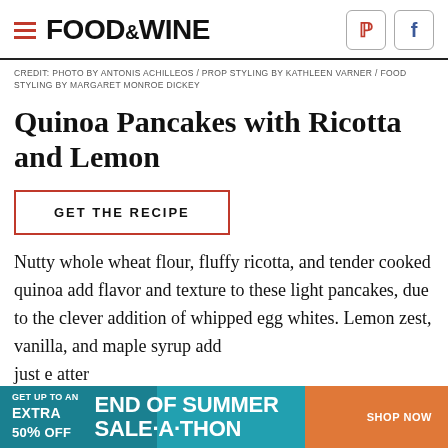FOOD&WINE
CREDIT: PHOTO BY ANTONIS ACHILLEOS / PROP STYLING BY KATHLEEN VARNER / FOOD STYLING BY MARGARET MONROE DICKEY
Quinoa Pancakes with Ricotta and Lemon
GET THE RECIPE
Nutty whole wheat flour, fluffy ricotta, and tender cooked quinoa add flavor and texture to these light pancakes, due to the clever addition of whipped egg whites. Lemon zest, vanilla, and maple syrup add just e... atter
[Figure (other): Advertisement banner: END OF SUMMER SALE-A-THON, GET UP TO AN EXTRA 50% OFF, SHOP NOW]